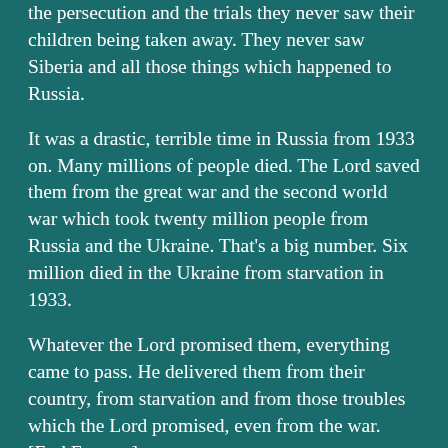the persecution and the trials they never saw their children being taken away. They never saw Siberia and all those things which happened to Russia.
It was a drastic, terrible time in Russia from 1933 on. Many millions of people died. The Lord saved them from the great war and the second world war which took twenty million people from Russia and the Ukraine. That’s a big number. Six million died in the Ukraine from starvation in 1933.
Whatever the Lord promised them, everything came to pass. He delivered them from their country, from starvation and from those troubles which the Lord promised, even from the war.
[End Excerpt]
The complete testimony of Boris Sorokovsky can